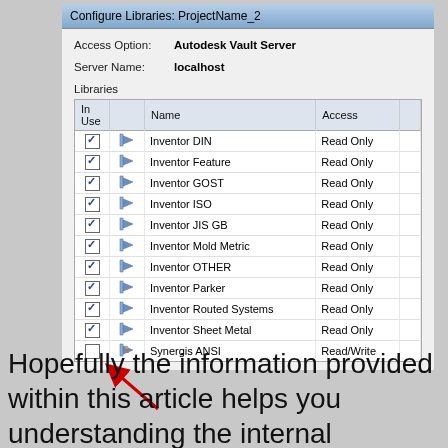[Figure (screenshot): Configure Libraries dialog for ProjectName_2 showing Access Option: Autodesk Vault Server, Server Name: localhost, and a Libraries table with columns In Use, Name, Access. Rows: Inventor DIN Read Only (checked), Inventor Feature Read Only (checked), Inventor GOST Read Only (checked), Inventor ISO Read Only (checked), Inventor JIS GB Read Only (checked), Inventor Mold Metric Read Only (checked), Inventor OTHER Read Only (checked), Inventor Parker Read Only (checked), Inventor Routed Systems Read Only (checked), Inventor Sheet Metal Read Only (checked), Synergis ANSI Read/Write (unchecked, with red arrow pointing to it).]
Hopefully the information provided within this article helps you understanding the internal structure of content center, how it is